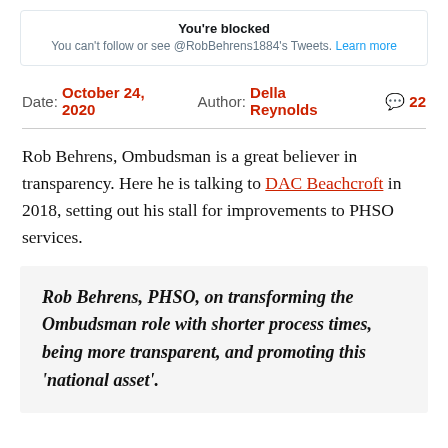[Figure (screenshot): Twitter 'You're blocked' message box. Text: 'You're blocked. You can't follow or see @RobBehrens1884's Tweets. Learn more']
Date: October 24, 2020  Author: Della Reynolds  💬 22
Rob Behrens, Ombudsman is a great believer in transparency. Here he is talking to DAC Beachcroft in 2018, setting out his stall for improvements to PHSO services.
Rob Behrens, PHSO, on transforming the Ombudsman role with shorter process times, being more transparent, and promoting this 'national asset'.